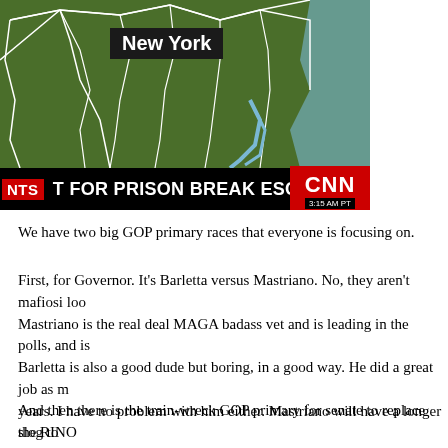[Figure (screenshot): CNN news broadcast screenshot showing a map of northeastern US with 'New York' label, and chyron reading 'T FOR PRISON BREAK ESCAPEES' with CNN logo and timestamp '3:15 AM PT']
We have two big GOP primary races that everyone is focusing on.
First, for Governor. It’s Barletta versus Mastriano. No, they aren’t mafiosi loo… Mastriano is the real deal MAGA badass vet and is leading in the polls, and is… Barletta is also a good dude but boring, in a good way. He did a great job as m… years. I have no problem with him either. Mastriano will have a longer slog to… more popular in the general election race against the dem scum. Oddly, the de… show how MAGA and Trumpian Mastriano is. Are they scared of him?
And then there is the train-wreck GOP primary for senate to replace the RINO… Pat Toomey. Barnette is saying all of the right things but can’t seem to get her…